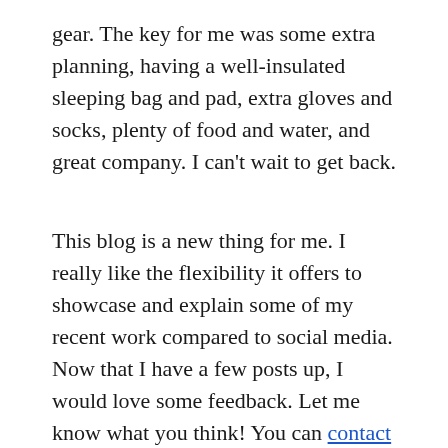gear. The key for me was some extra planning, having a well-insulated sleeping bag and pad, extra gloves and socks, plenty of food and water, and great company. I can't wait to get back.
This blog is a new thing for me. I really like the flexibility it offers to showcase and explain some of my recent work compared to social media. Now that I have a few posts up, I would love some feedback. Let me know what you think! You can contact me